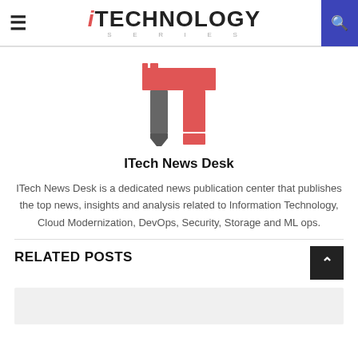iTECHNOLOGY SERIES
[Figure (logo): iTech Technology Series logo — stylized 'iT' mark with red and grey blocks]
ITech News Desk
ITech News Desk is a dedicated news publication center that publishes the top news, insights and analysis related to Information Technology, Cloud Modernization, DevOps, Security, Storage and ML ops.
RELATED POSTS